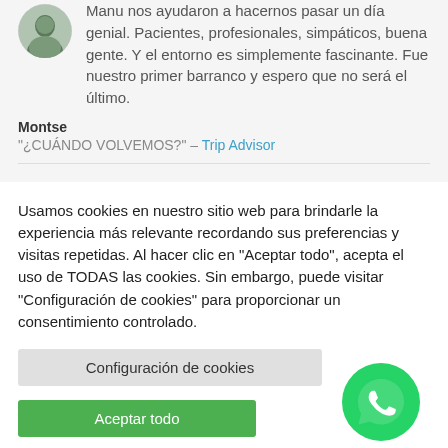[Figure (photo): Circular avatar photo of a person outdoors]
Manu nos ayudaron a hacernos pasar un día genial. Pacientes, profesionales, simpáticos, buena gente. Y el entorno es simplemente fascinante. Fue nuestro primer barranco y espero que no será el último.
Montse
“¿CUÁNDO VOLVEMOS?” – Trip Advisor
Usamos cookies en nuestro sitio web para brindarle la experiencia más relevante recordando sus preferencias y visitas repetidas. Al hacer clic en "Aceptar todo", acepta el uso de TODAS las cookies. Sin embargo, puede visitar "Configuración de cookies" para proporcionar un consentimiento controlado.
Configuración de cookies
Aceptar todo
[Figure (logo): WhatsApp green circular icon with phone symbol]